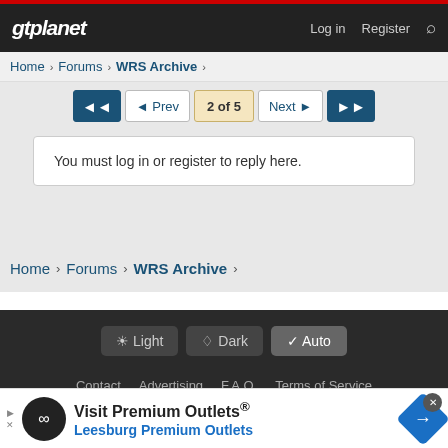gtplanet | Log in | Register
Home › Forums › WRS Archive ›
◄◄  ◄ Prev  2 of 5  Next ►  ►►
You must log in or register to reply here.
Home › Forums › WRS Archive ›
☀ Light  ☾ Dark  ✓ Auto
Contact  Advertising  F.A.Q.  Terms of Service  Acceptable Use  Privacy
Visit Premium Outlets® Leesburg Premium Outlets